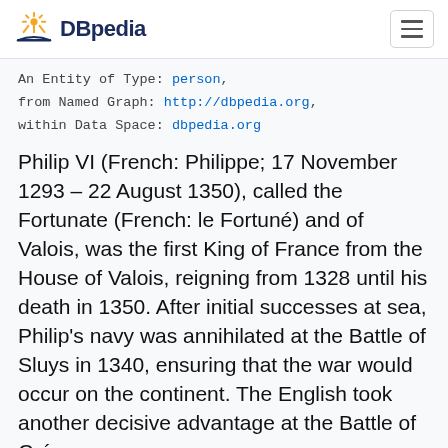DBpedia
An Entity of Type: person, from Named Graph: http://dbpedia.org, within Data Space: dbpedia.org
Philip VI (French: Philippe; 17 November 1293 – 22 August 1350), called the Fortunate (French: le Fortuné) and of Valois, was the first King of France from the House of Valois, reigning from 1328 until his death in 1350. After initial successes at sea, Philip's navy was annihilated at the Battle of Sluys in 1340, ensuring that the war would occur on the continent. The English took another decisive advantage at the Battle of Crécy